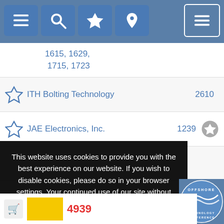[Figure (screenshot): Mobile app navigation bar with list, search, star, and location icons in blue, plus a hamburger menu button on the right]
1615, 1629, 1715, 1723
ITH Bolting Technology  2610
JAE Electronics, Inc.  1239
This website uses cookies to provide you with the best experience on our website. If you wish to disable cookies, please do so in your browser settings. Your continued use of our site without disabling your cookies is subject to the cookie policy. Learn More
I agree